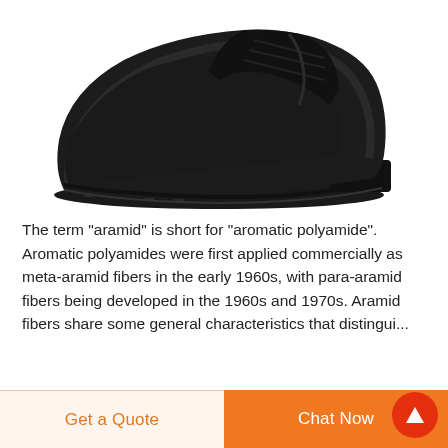[Figure (photo): Close-up photo of a black leather lace-up shoe or chukka boot against a white background, showing the toe, vamp, laces, and rubber sole from a top-front angle.]
The term "aramid" is short for "aromatic polyamide". Aromatic polyamides were first applied commercially as meta-aramid fibers in the early 1960s, with para-aramid fibers being developed in the 1960s and 1970s. Aramid fibers share some general characteristics that distingui...
Get a Quote
Chat Now